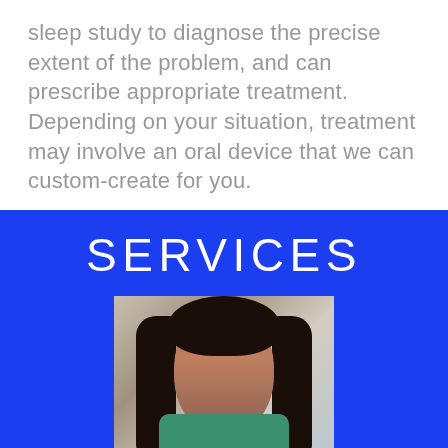sleep study to diagnose the precise extent of the problem, and can prescribe appropriate treatment. Depending on your situation, treatment may involve an oral device that we can custom-create for you.
SERVICES
[Figure (photo): A smiling young woman with long dark hair, resting her hand near her face, wearing a green top, photographed outdoors against a wall background.]